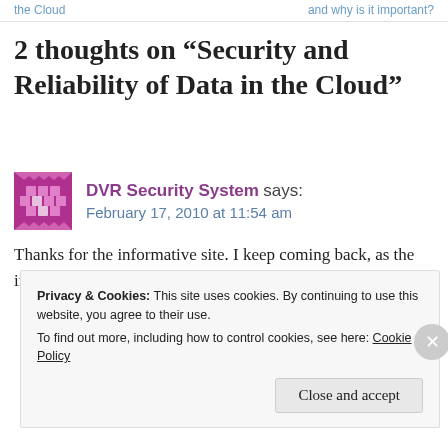the Cloud | and why is it important?
2 thoughts on “Security and Reliability of Data in the Cloud”
DVR Security System says: February 17, 2010 at 11:54 am
Thanks for the informative site. I keep coming back, as the information is first class. Thanks
Privacy & Cookies: This site uses cookies. By continuing to use this website, you agree to their use. To find out more, including how to control cookies, see here: Cookie Policy
Close and accept